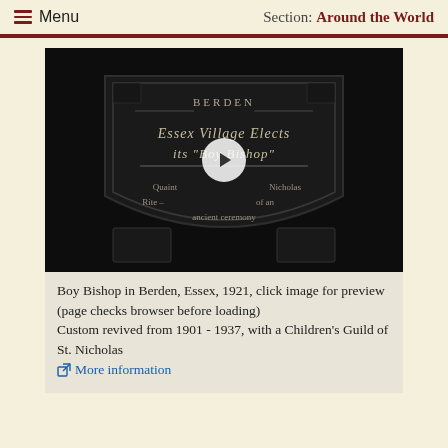Menu  Section: Around the World
[Figure (screenshot): Black and white video thumbnail showing a shield-shaped title card reading 'BERDEN / Essex Village Elects its Boy Bishop / Quaint St. Nicholas Rite — revival of an ancient ceremony' with a play button overlay.]
Boy Bishop in Berden, Essex, 1921, click image for preview (page checks browser before loading)
Custom revived from 1901 - 1937, with a Children's Guild of St. Nicholas
More information